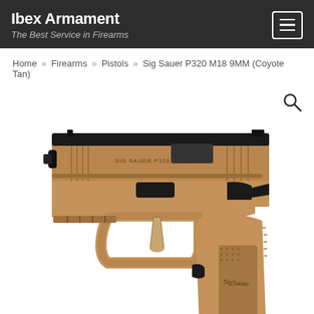Ibex Armament
The Best Service in Firearms
Home » Firearms » Pistols » Sig Sauer P320 M18 9MM (Coyote Tan)
[Figure (photo): Side-profile photo of a Sig Sauer P320 M18 9MM pistol in Coyote Tan finish, showing the slide, frame, trigger guard, grip with SIG SAUER branding, accessory rail, and an extended magazine. A magnifying glass search icon is visible in the upper right of the image area.]